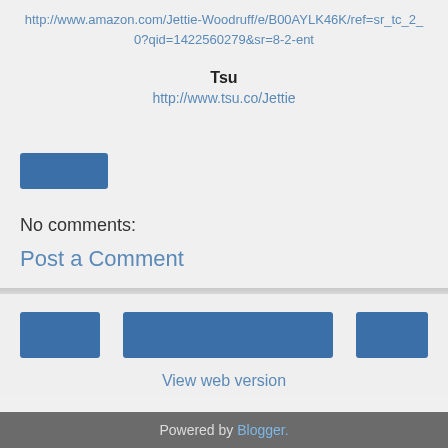http://www.amazon.com/Jettie-Woodruff/e/B00AYLK46K/ref=sr_tc_2_0?qid=1422560279&sr=8-2-ent
Tsu
http://www.tsu.co/Jettie
[Figure (other): Blue button (UI element)]
No comments:
Post a Comment
[Figure (other): Footer navigation buttons: left button, center button, right button]
View web version
Powered by Blogger.